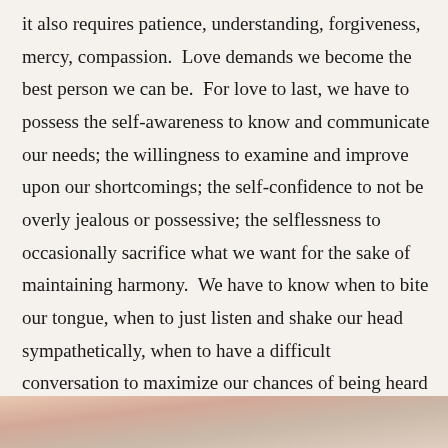it also requires patience, understanding, forgiveness, mercy, compassion.  Love demands we become the best person we can be.  For love to last, we have to possess the self-awareness to know and communicate our needs; the willingness to examine and improve upon our shortcomings; the self-confidence to not be overly jealous or possessive; the selflessness to occasionally sacrifice what we want for the sake of maintaining harmony.  We have to know when to bite our tongue, when to just listen and shake our head sympathetically, when to have a difficult conversation to maximize our chances of being heard and minimize misunderstanding (not right when our husband walks through the door or when either of us is sleep-deprived, hungry or grouchy).
[Figure (photo): Partial image visible at the bottom of the page, showing warm pinkish and beige tones, appears to be a cropped photograph]